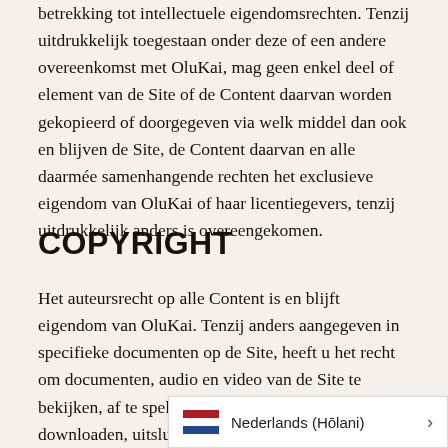betrekking tot intellectuele eigendomsrechten. Tenzij uitdrukkelijk toegestaan onder deze of een andere overeenkomst met OluKai, mag geen enkel deel of element van de Site of de Content daarvan worden gekopieerd of doorgegeven via welk middel dan ook en blijven de Site, de Content daarvan en alle daarmée samenhangende rechten het exclusieve eigendom van OluKai of haar licentiegevers, tenzij uitdrukkelijk anders is overeengekomen.
COPYRIGHT
Het auteursrecht op alle Content is en blijft eigendom van OluKai. Tenzij anders aangegeven in specifieke documenten op de Site, heeft u het recht om documenten, audio en video van de Site te bekijken, af te spelen, af te drukken en te downloaden, uitsluitend voor persoonlijke, informatieve en niet-commerciële doeleinden. U mag geen van de materialen wijzigen en u mag geen Content kopiëren, distribueren, verzenden, weergeven, uitvoeren, reproduceren, publiceren, in licentie geven, er afgeleide werken van maken, o... Behoudens voor zover toegesta...
Nederlands (Hōlani)